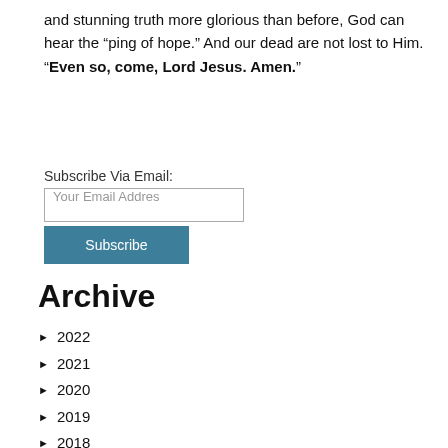and stunning truth more glorious than before, God can hear the “ping of hope.” And our dead are not lost to Him. “Even so, come, Lord Jesus. Amen.”
Subscribe Via Email:
Your Email Addres
Subscribe
Archive
2022
2021
2020
2019
2018
2017
2016